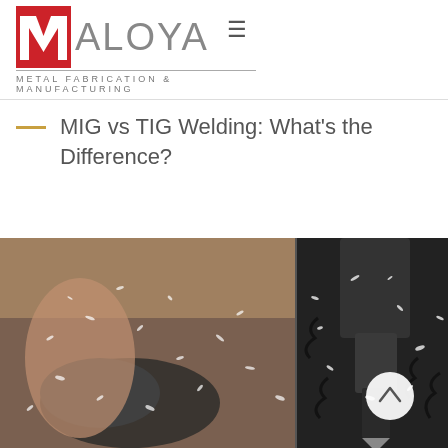[Figure (logo): Maloya Metal Fabrication & Manufacturing logo with red M icon and grey text]
MIG vs TIG Welding: What’s the Difference?
[Figure (photo): Split image showing a gloved hand covered in metal shavings on the left and a CNC machining tool with metal chips on the right, with a scroll-up button overlay]